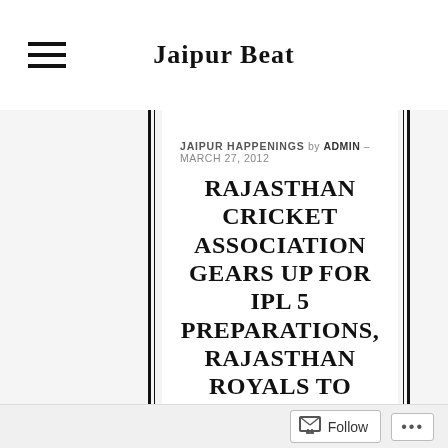Jaipur Beat
JAIPUR HAPPENINGS by ADMIN – MARCH 27, 2012
RAJASTHAN CRICKET ASSOCIATION GEARS UP FOR IPL 5 PREPARATIONS, RAJASTHAN ROYALS TO BRING DECENT CHEERLEADERS
With Indian Premier League to kick off after 10 days, Rajasthan Cricket Association (RCA) and Sawai Man Singh stadium are